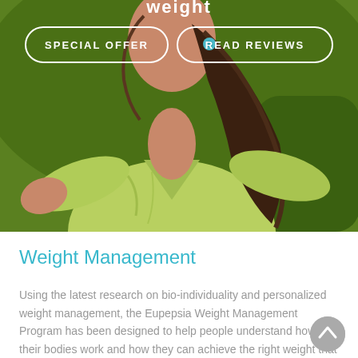[Figure (photo): Woman in green shirt leaning forward outdoors, with brown hair, smiling, against a green background. Two button overlays: SPECIAL OFFER and READ REVIEWS. Partial title text 'weight' visible at top.]
Weight Management
Using the latest research on bio-individuality and personalized weight management, the Eupepsia Weight Management Program has been designed to help people understand how their bodies work and how they can achieve the right weight that they can